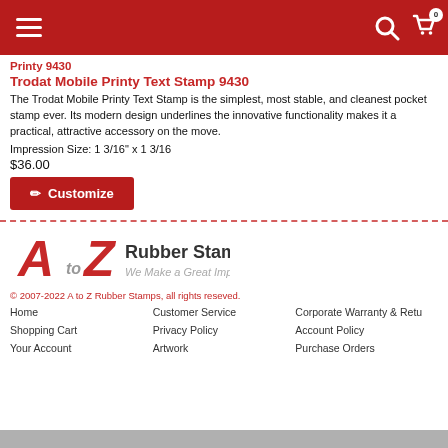Navigation bar with hamburger menu, search icon, and cart icon (0 items)
Printy 9430
Trodat Mobile Printy Text Stamp 9430
The Trodat Mobile Printy Text Stamp is the simplest, most stable, and cleanest pocket stamp ever. Its modern design underlines the innovative functionality makes it a practical, attractive accessory on the move.
Impression Size: 1 3/16" x 1 3/16
$36.00
✏ Customize
[Figure (logo): A to Z Rubber Stamps logo with tagline 'We Make a Great Impression']
© 2007-2022 A to Z Rubber Stamps, all rights reseved.
Home | Customer Service | Corporate Warranty & Returns
Shopping Cart | Privacy Policy | Account Policy
Your Account | Artwork | Purchase Orders | Rapid Orders